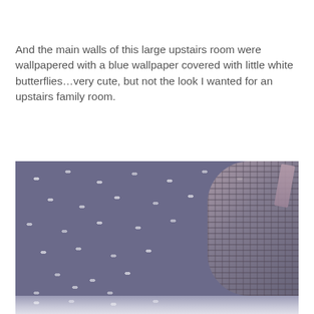And the main walls of this large upstairs room were wallpapered with a blue wallpaper covered with little white butterflies…very cute, but not the look I wanted for an upstairs family room.
[Figure (photo): Photo of blue/purple wallpaper covered with small white butterfly patterns, with a wicker basket with ribbon visible on the right side. The bottom of the image fades into a lighter version of the same wallpaper.]